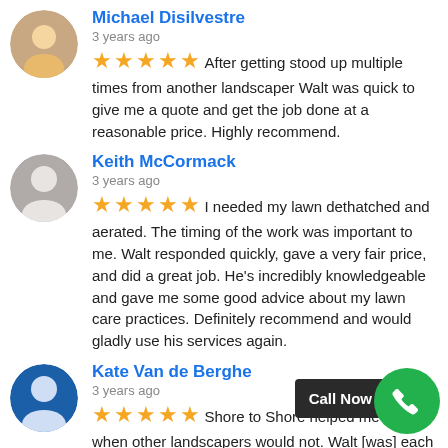Michael Disilvestre
3 years ago
After getting stood up multiple times from another landscaper Walt was quick to give me a quote and get the job done at a reasonable price. Highly recommend.
Keith McCormack
3 years ago
I needed my lawn dethatched and aerated. The timing of the work was important to me. Walt responded quickly, gave a very fair price, and did a great job. He's incredibly knowledgeable and gave me some good advice about my lawn care practices. Definitely recommend and would gladly use his services again.
Kate Van de Berghe
3 years ago
Shore to Shore helped me out when other landscapers would not. Walt [was] each easy to work with. They made my house look bea[utiful] while it was For Sale. They definitely helped us get some